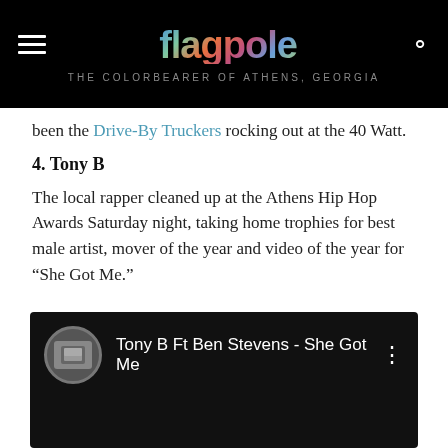flagpole — THE COLORBEARER OF ATHENS, GEORGIA
been the Drive-By Truckers rocking out at the 40 Watt.
4. Tony B
The local rapper cleaned up at the Athens Hip Hop Awards Saturday night, taking home trophies for best male artist, mover of the year and video of the year for “She Got Me.”
[Figure (screenshot): Embedded YouTube video thumbnail showing 'Tony B Ft Ben Stevens - She Got Me' with a circular channel icon and three-dot menu icon on a dark background.]